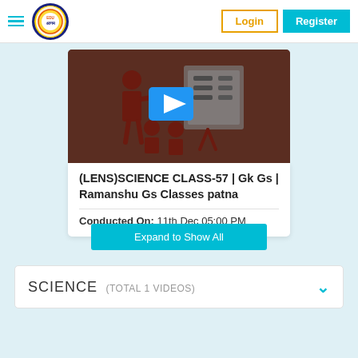[Figure (screenshot): Website header with hamburger menu, EDU Aagam logo, Login and Register buttons]
[Figure (screenshot): Video thumbnail showing a teacher with students and a play button overlay for science class]
(LENS)SCIENCE CLASS-57 | Gk Gs | Ramanshu Gs Classes patna
Conducted On:  11th Dec 05:00 PM
Expand to Show All
SCIENCE  (TOTAL 1 VIDEOS)